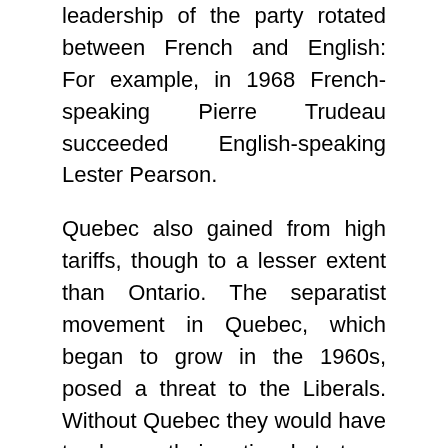leadership of the party rotated between French and English: For example, in 1968 French-speaking Pierre Trudeau succeeded English-speaking Lester Pearson.
Quebec also gained from high tariffs, though to a lesser extent than Ontario. The separatist movement in Quebec, which began to grow in the 1960s, posed a threat to the Liberals. Without Quebec they would have to change their national strategy. They responded in the 1960s and 1970s by sending subsidies to Quebec and by imposing bilingualism on the rest of Canada.
THESE POLICIES, Brimelow states flatly, did not work. Separatism kept growing all through the 1960s and 1970s. In 1976 Rene Levesque's separatist Parti Quebecois won the provincial election and stayed in power until 1985. And although Levesque's 1980 referendum on separation was defeated by a 3 to 2 margin, notes Brimelow, "Quebec is emerging as a genuine nation state."